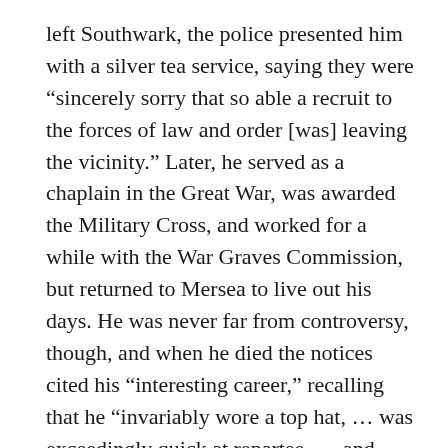left Southwark, the police presented him with a silver tea service, saying they were “sincerely sorry that so able a recruit to the forces of law and order [was] leaving the vicinity.” Later, he served as a chaplain in the Great War, was awarded the Military Cross, and worked for a while with the War Graves Commission, but returned to Mersea to live out his days. He was never far from controversy, though, and when he died the notices cited his “interesting career,” recalling that he “invariably wore a top hat, … was exceedingly quick at repartee, … and proved more than a match for many hecklers.”